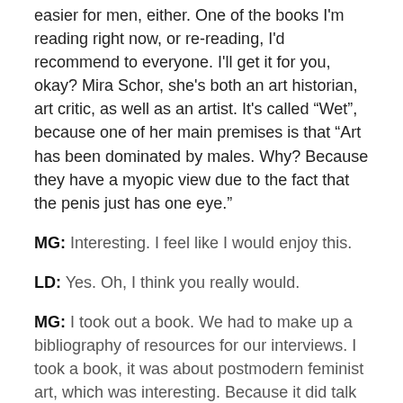easier for men, either. One of the books I'm reading right now, or re-reading, I'd recommend to everyone. I'll get it for you, okay? Mira Schor, she's both an art historian, art critic, as well as an artist. It's called “Wet”, because one of her main premises is that “Art has been dominated by males. Why? Because they have a myopic view due to the fact that the penis just has one eye.”
MG: Interesting. I feel like I would enjoy this.
LD: Yes. Oh, I think you really would.
MG: I took out a book. We had to make up a bibliography of resources for our interviews. I took a book, it was about postmodern feminist art, which was interesting. Because it did talk